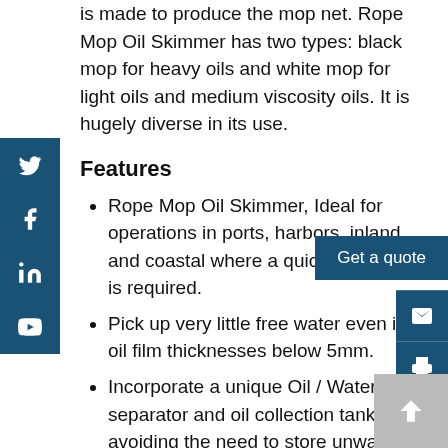is made to produce the mop net. Rope Mop Oil Skimmer has two types: black mop for heavy oils and white mop for light oils and medium viscosity oils. It is hugely diverse in its use.
Features
Rope Mop Oil Skimmer, Ideal for operations in ports, harbors, inland, and coastal where a quick response is required.
Pick up very little free water even in oil film thicknesses below 5mm.
Incorporate a unique Oil / Water separator and oil collection tank, avoiding the need to store unwanted free water.